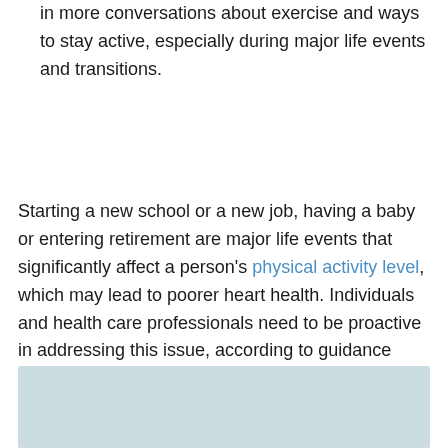in more conversations about exercise and ways to stay active, especially during major life events and transitions.
Starting a new school or a new job, having a baby or entering retirement are major life events that significantly affect a person's physical activity level, which may lead to poorer heart health. Individuals and health care professionals need to be proactive in addressing this issue, according to guidance from a new American Heart Association Scientific Statement published today in the Association's flagship journal Circulation. A scientific statement is an expert analysis of current research and may inform future guidelines.
[Figure (other): Light blue-gray rectangular box at bottom of page, partially visible]